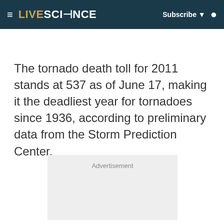LIVESCIENCE | Subscribe | Search
The tornado death toll for 2011 stands at 537 as of June 17, making it the deadliest year for tornadoes since 1936, according to preliminary data from the Storm Prediction Center.
[Figure (other): Advertisement placeholder box with light gray background]